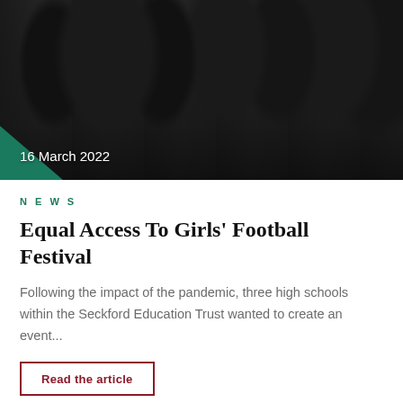[Figure (photo): Girls in football kit standing on a dark pitch, photographed at night or indoor facility, several players visible from the waist down]
16 March 2022
NEWS
Equal Access To Girls' Football Festival
Following the impact of the pandemic, three high schools within the Seckford Education Trust wanted to create an event...